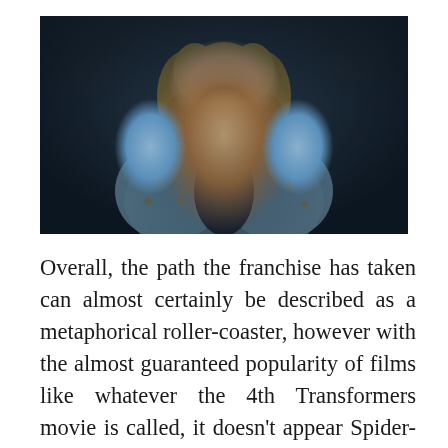[Figure (photo): A cinematic scene showing a woman with curly blonde hair and red lips looking up with an expression of fear or distress, wearing a light blue floral jacket over a dark top, in a dark dramatic setting.]
Overall, the path the franchise has taken can almost certainly be described as a metaphorical roller-coaster, however with the almost guaranteed popularity of films like whatever the 4th Transformers movie is called, it doesn’t appear Spider-Man is headed in the right direction. The franchise looks to be primed to suffer from superhero fatigue and instead of balancing Peter Parker’s life with his responsibility as Spider-Man, the films are